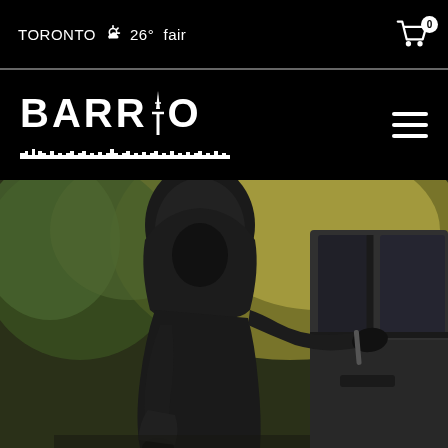TORONTO ☀ 26° fair
[Figure (logo): BARRIO logo with Toronto skyline silhouette in white on black background]
[Figure (photo): A person in a black hoodie and gloves breaking into a car, holding a tool at the car door window]